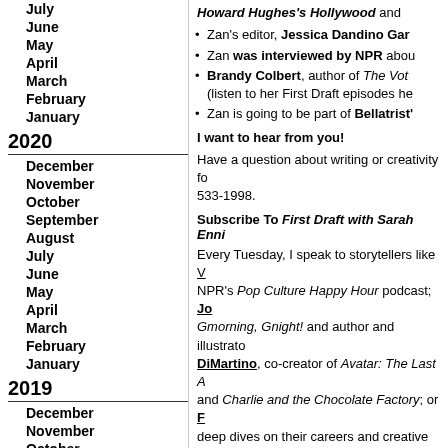July
June
May
April
March
February
January
2020
December
November
October
September
August
July
June
May
April
March
February
January
2019
December
November
October
September
August
July
June
May
April
March
Howard Hughes's Hollywood and...
Zan's editor, Jessica Dandino Gar...
Zan was interviewed by NPR abou...
Brandy Colbert, author of The Vot... (listen to her First Draft episodes he...
Zan is going to be part of Bellatrist'...
I want to hear from you!
Have a question about writing or creativity fo... 533-1998.
Subscribe To First Draft with Sarah Enni...
Every Tuesday, I speak to storytellers like V... NPR's Pop Culture Happy Hour podcast; Jo... Gmorning, Gnight! and author and illustrato... DiMartino, co-creator of Avatar: The Last A... and Charlie and the Chocolate Factory; or F... deep dives on their careers and creative wo...
Don't miss an episode! Subscribe in Apple ... free!
Rate, Review, and Recommend
How do you like the show?
Please take a moment to rate and review Fi... wherever you listen to podcasts. Your hones...
Is there someone you think would love this p... Twitter, Pinterest, or via carrier pigeon (mayl... the bottom of this post!